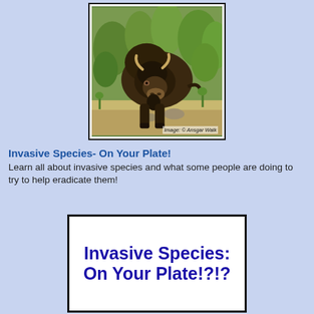[Figure (photo): A bison (American buffalo) walking toward the camera in a green brushy environment, with copyright credit 'Image: © Ansgar Walk' at bottom right.]
Invasive Species- On Your Plate!
Learn all about invasive species and what some people are doing to try to help eradicate them!
[Figure (illustration): Book cover with bold blue text reading 'Invasive Species: On Your Plate!?!?' on white background with black border.]